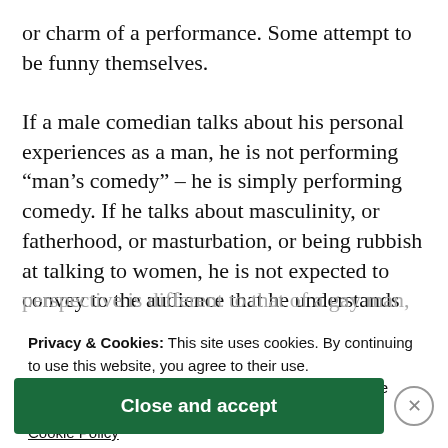or charm of a performance. Some attempt to be funny themselves.
If a male comedian talks about his personal experiences as a man, he is not performing “man’s comedy” – he is simply performing comedy. If he talks about masculinity, or fatherhood, or masturbation, or being rubbish at talking to women, he is not expected to convey to the audience that he understands his perspective is different to that of a gay man, or an
Privacy & Cookies: This site uses cookies. By continuing to use this website, you agree to their use.
To find out more, including how to control cookies, see here:
Cookie Policy
Close and accept